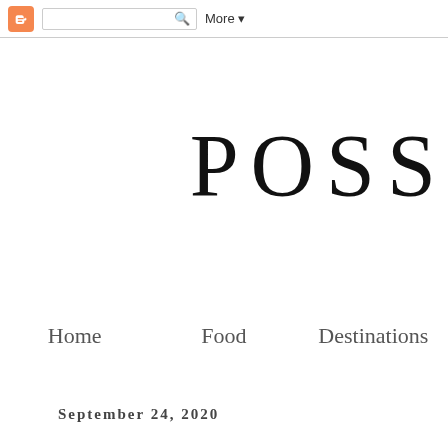Blogger toolbar with search and More button
POSS
Home
Food
Destinations
September 24, 2020